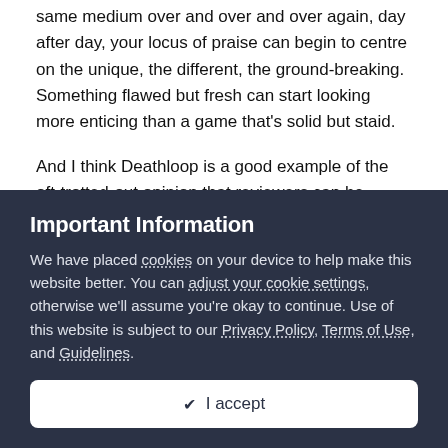same medium over and over and over again, day after day, your locus of praise can begin to centre on the unique, the different, the ground-breaking. Something flawed but fresh can start looking more enticing than a game that's solid but staid.
And I think Deathloop is a good example of the oft-trotted-out opinion that reviewers can be disconnected from their audience; a 'truism' that is more often than not just a smokescreen for fans Stanning for something they love but now and again is on point.
Deathloop takes big swings but the 'unique' and 'innovative' qualities that wowed the critics – the loop itself, the approach to
Important Information
We have placed cookies on your device to help make this website better. You can adjust your cookie settings, otherwise we'll assume you're okay to continue. Use of this website is subject to our Privacy Policy, Terms of Use, and Guidelines.
✔  I accept